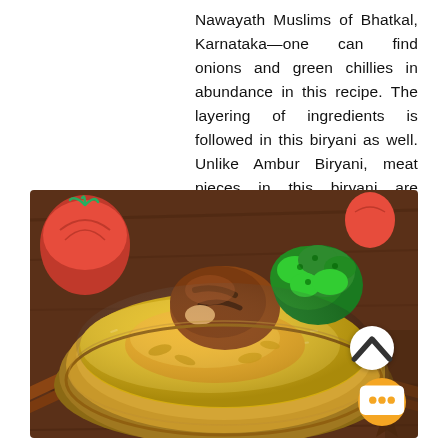Nawayath Muslims of Bhatkal, Karnataka—one can find onions and green chillies in abundance in this recipe. The layering of ingredients is followed in this biryani as well. Unlike Ambur Biryani, meat pieces in this biryani are cooked in curd. This process makes it a whole less spicy than its counterparts.
[Figure (photo): A bowl of biryani with a grilled chicken piece on top, garnished with fresh green parsley/coriander, served in a metallic bowl. In the background there are red tomatoes and cinnamon sticks on a wooden surface.]